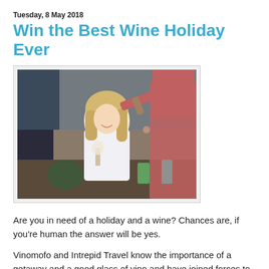Tuesday, 8 May 2018
Win the Best Wine Holiday Ever
[Figure (photo): A smiling blonde woman holding a wine glass while a person pours rose wine into it at an outdoor gathering]
Are you in need of a holiday and a wine? Chances are, if you're human the answer will be yes.
Vinomofo and Intrepid Travel know the importance of a getaway and a good glass of vino and have joined forces to giveaway the most ultimate prize pack of all time; A trip for two to Northern Spain for an epic wine adventure.
Yes, the the return flights and are especially protected in